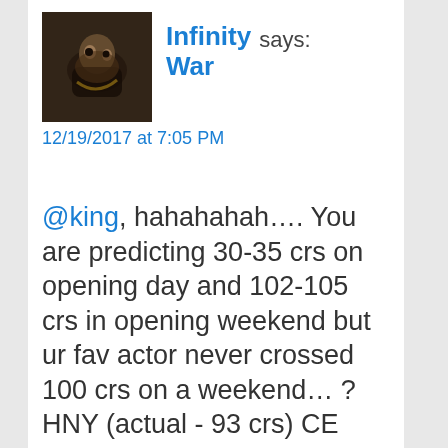[Figure (photo): Avatar image of a dark fantasy movie scene used as profile picture for user 'Infinity War']
Infinity War says:
12/19/2017 at 7:05 PM
@king, hahahahah…. You are predicting 30-35 crs on opening day and 102-105 crs in opening weekend but ur fav actor never crossed 100 crs on a weekend… ? HNY (actual - 93 crs) CE (actual - 94 crs without